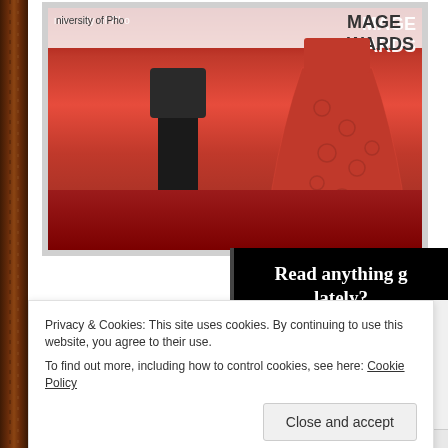[Figure (photo): Red carpet photo showing two people standing in front of a banner reading 'University of Phoenix' and 'IMAGE AWARDS'. The scene features a red carpet. One person is wearing dark/black outfit, another is wearing a red lace dress.]
[Figure (screenshot): Black advertisement panel with white serif text reading 'Read anything good lately?' and a red button reading 'Start reading']
Privacy & Cookies: This site uses cookies. By continuing to use this website, you agree to their use.
To find out more, including how to control cookies, see here: Cookie Policy
Close and accept